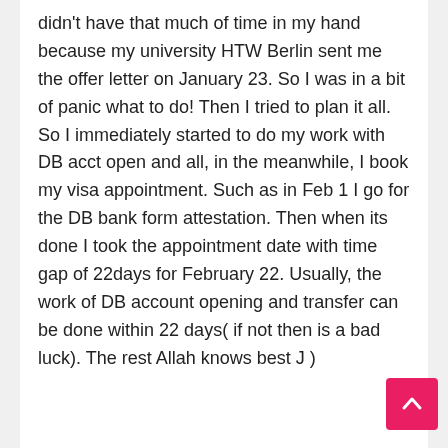didn't have that much of time in my hand because my university HTW Berlin sent me the offer letter on January 23. So I was in a bit of panic what to do! Then I tried to plan it all. So I immediately started to do my work with DB acct open and all, in the meanwhile, I book my visa appointment. Such as in Feb 1 I go for the DB bank form attestation. Then when its done I took the appointment date with time gap of 22days for February 22. Usually, the work of DB account opening and transfer can be done within 22 days( if not then is a bad luck). The rest Allah knows best J )